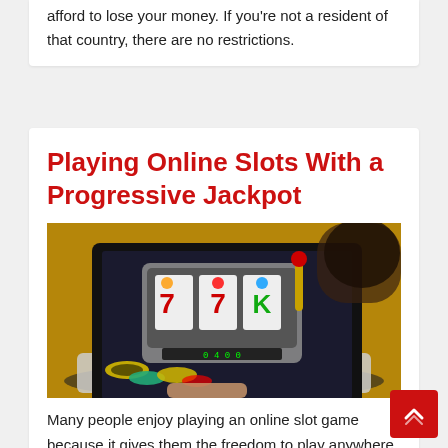afford to lose your money. If you're not a resident of that country, there are no restrictions.
Playing Online Slots With a Progressive Jackpot
[Figure (photo): Photo of a laptop screen displaying a slot machine game with colorful reels showing sevens and other symbols, with casino chips scattered around, and a person visible in the background on a wooden floor.]
Many people enjoy playing an online slot game because it gives them the freedom to play anywhere they want. You can sit in your pajamas or tracksuit and enjoy playing this casino game.